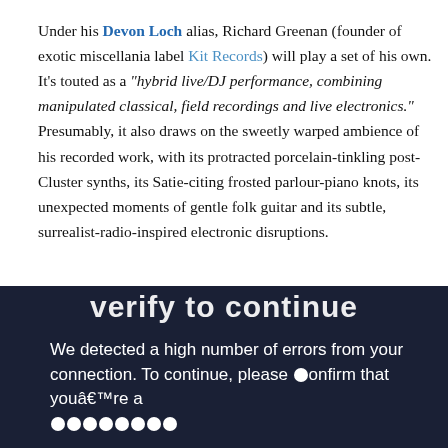Under his Devon Loch alias, Richard Greenan (founder of exotic miscellania label Kit Records) will play a set of his own. It's touted as a "hybrid live/DJ performance, combining manipulated classical, field recordings and live electronics." Presumably, it also draws on the sweetly warped ambience of his recorded work, with its protracted porcelain-tinkling post-Cluster synths, its Satie-citing frosted parlour-piano knots, its unexpected moments of gentle folk guitar and its subtle, surrealist-radio-inspired electronic disruptions.
[Figure (screenshot): Dark navy verification overlay with large bold white text 'verify to continue' at top and body text 'We detected a high number of errors from your connection. To continue, please confirm that youâ€™re a hu...' with circular dot icons obscuring part of the text.]